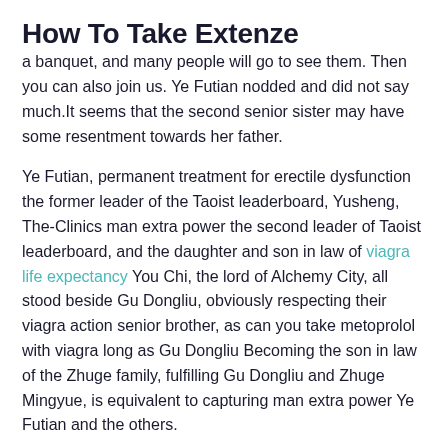How To Take Extenze
a banquet, and many people will go to see them. Then you can also join us. Ye Futian nodded and did not say much.It seems that the second senior sister may have some resentment towards her father.
Ye Futian, permanent treatment for erectile dysfunction the former leader of the Taoist leaderboard, Yusheng, The-Clinics man extra power the second leader of Taoist leaderboard, and the daughter and son in law of viagra life expectancy You Chi, the lord of Alchemy City, all stood beside Gu Dongliu, obviously respecting their viagra action senior brother, as can you take metoprolol with viagra long as Gu Dongliu Becoming the son in law of the Zhuge family, fulfilling Gu Dongliu and Zhuge Mingyue, is equivalent to capturing man extra power Ye Futian and the others.